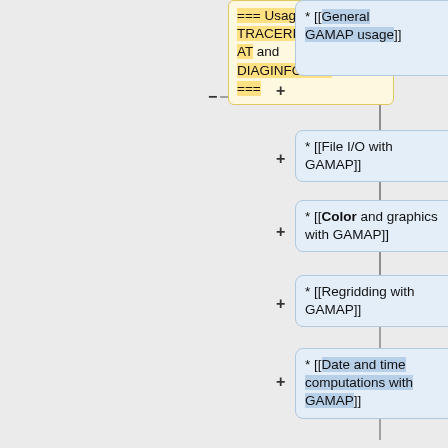=== Usage of TRACERINFO.DAT and DIAGINFO.DAT ===
* [[General GAMAP usage]]
* [[File I/O with GAMAP]]
* [[Color and graphics with GAMAP]]
* [[Regridding with GAMAP]]
* [[Date and time computations with GAMAP]]
* [[Text manipulation with GAMAP ]]